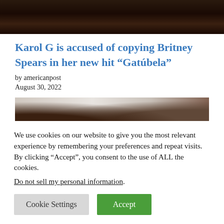[Figure (photo): Dark background image at top of article, appears to be a dimly lit scene]
Karol G is accused of copying Britney Spears in her new hit “Gatúbela”
by americanpost
August 30, 2022
[Figure (photo): Partially visible blurred image below article date]
We use cookies on our website to give you the most relevant experience by remembering your preferences and repeat visits. By clicking “Accept”, you consent to the use of ALL the cookies.
Do not sell my personal information.
Cookie Settings
Accept